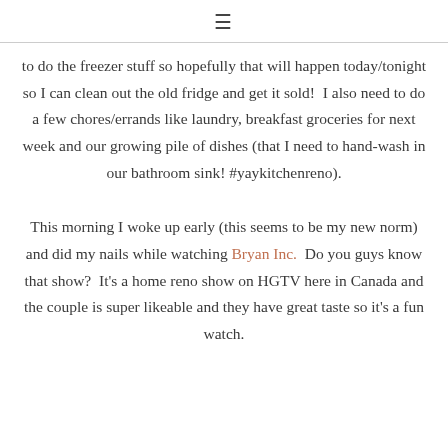≡
to do the freezer stuff so hopefully that will happen today/tonight so I can clean out the old fridge and get it sold!  I also need to do a few chores/errands like laundry, breakfast groceries for next week and our growing pile of dishes (that I need to hand-wash in our bathroom sink! #yaykitchenreno).
This morning I woke up early (this seems to be my new norm) and did my nails while watching Bryan Inc.  Do you guys know that show?  It's a home reno show on HGTV here in Canada and the couple is super likeable and they have great taste so it's a fun watch.